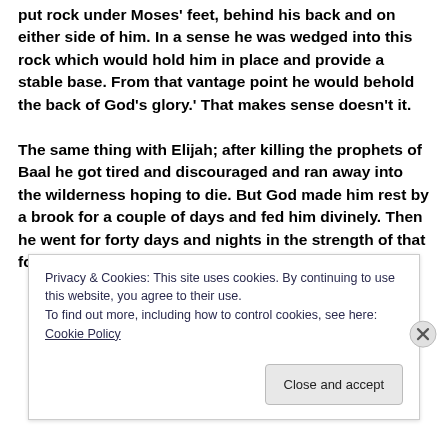put rock under Moses' feet, behind his back and on either side of him. In a sense he was wedged into this rock which would hold him in place and provide a stable base. From that vantage point he would behold the back of God's glory.' That makes sense doesn't it.

The same thing with Elijah; after killing the prophets of Baal he got tired and discouraged and ran away into the wilderness hoping to die. But God made him rest by a brook for a couple of days and fed him divinely. Then he went for forty days and nights in the strength of that food to Mt. Horeb and hid in a cave
Privacy & Cookies: This site uses cookies. By continuing to use this website, you agree to their use.
To find out more, including how to control cookies, see here: Cookie Policy
Close and accept